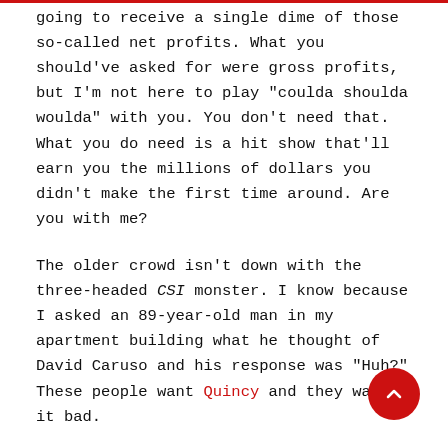going to receive a single dime of those so-called net profits. What you should've asked for were gross profits, but I'm not here to play "coulda shoulda woulda" with you. You don't need that. What you do need is a hit show that'll earn you the millions of dollars you didn't make the first time around. Are you with me?
The older crowd isn't down with the three-headed CSI monster. I know because I asked an 89-year-old man in my apartment building what he thought of David Caruso and his response was "Huh?" These people want Quincy and they want it bad.
Just think of all the current hot-button topics you could tackle: terrorism, global warming, immigration, religious fundamentalism, girls running for president, wars built on one lie after another, and — worst of all — rap music. All